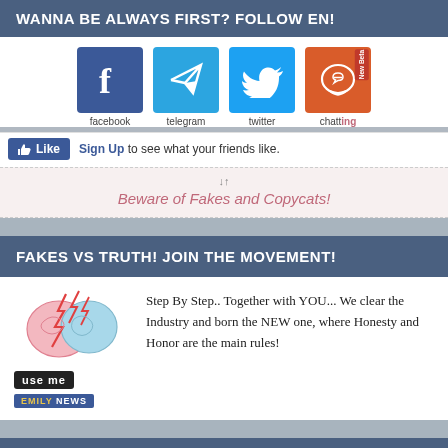WANNA BE ALWAYS FIRST? FOLLOW EN!
[Figure (infographic): Social media icons for facebook, telegram, twitter, chatting (with New Beta label)]
Like  Sign Up to see what your friends like.
↓↑
Beware of Fakes and Copycats!
FAKES VS TRUTH! JOIN THE MOVEMENT!
[Figure (illustration): Brain illustration with lightning bolts, use me logo, EMILY NEWS badge]
Step By Step.. Together with YOU... We clear the Industry and born the NEW one, where Honesty and Honor are the main rules!
ADVERTISE